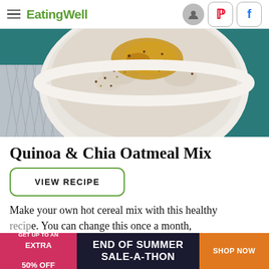EatingWell
[Figure (photo): Close-up overhead photo of a white bowl of oatmeal topped with quinoa, chia seeds, and caramelized toppings on a teal surface with a gray herringbone cloth]
Quinoa & Chia Oatmeal Mix
VIEW RECIPE
Make your own hot cereal mix with this healthy recipe. You can change this once a month, amount
[Figure (infographic): Advertisement banner: GET UP TO AN EXTRA 50% OFF | END OF SUMMER SALE-A-THON | SHOP NOW]